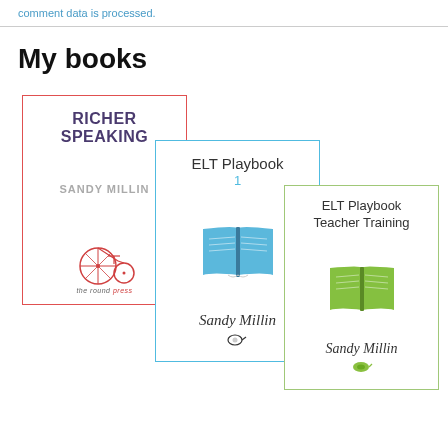comment data is processed.
My books
[Figure (illustration): Three overlapping book covers: 'Richer Speaking' by Sandy Millin (red border), 'ELT Playbook 1' by Sandy Millin (blue border), and 'ELT Playbook Teacher Training' by Sandy Millin (green border)]